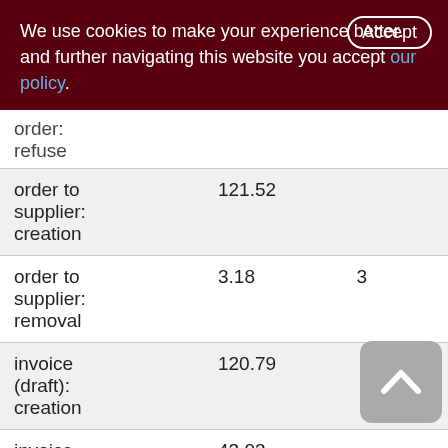We use cookies to make your experience better. By accepting and further navigating this website you accept our policy.
|  |  |  |
| --- | --- | --- |
| order: refuse |  |  |
| order to supplier: creation | 121.52 |  |
| order to supplier: removal | 3.18 | 3 |
| invoice (draft): creation | 120.79 |  |
| invoice | 43.03 |  |